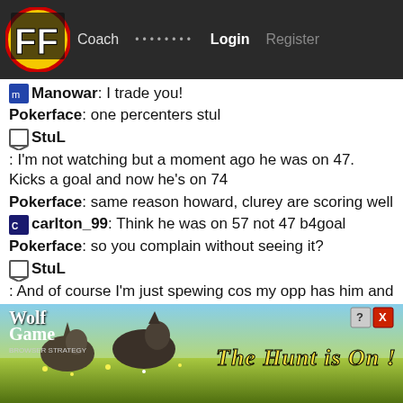FF  Coach  ········  Login  Register
Manowar: I trade you!
Pokerface: one percenters stul
StuL: I'm not watching but a moment ago he was on 47. Kicks a goal and now he's on 74
Pokerface: same reason howard, clurey are scoring well
carlton_99: Think he was on 57 not 47 b4goal
Pokerface: so you complain without seeing it?
StuL: And of course I'm just spewing cos my opp has him and I don't
Pokerface: lol i see 🙂
MONEY TALK: brought in westhoff this
[Figure (photo): Wolf Game advertisement banner showing wolves in a field with text 'THE HUNT IS ON!']